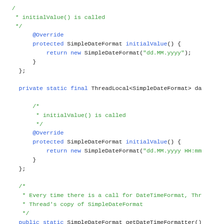Code snippet showing Java ThreadLocal SimpleDateFormat usage with initialValue() overrides and getDateTimeFormatter() method